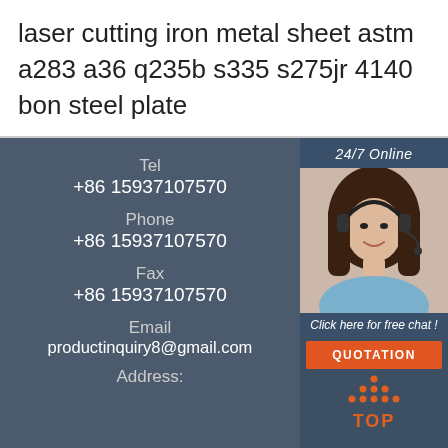laser cutting iron metal sheet astm a283 a36 q235b s335 s275jr 4140 bon steel plate
24/7 Online
[Figure (photo): Customer service agent, a woman with dark hair wearing a headset, smiling, for 24/7 online support chat]
Click here for free chat !
QUOTATION
Tel
+86 15937107570
Phone
+86 15937107570
Fax
+86 15937107570
Email
productinquiry8@gmail.com
Address:
Room F,16F,NO.118 Cheng Jiang Rd(M),JiangYin,JiangSu
[Figure (logo): Orange TOP logo with triangular dot pattern above the word TOP]